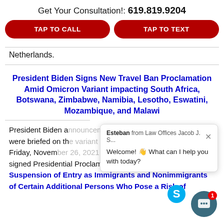Get Your Consultation!: 619.819.9204
TAP TO CALL
TAP TO TEXT
Netherlands.
President Biden Signs New Travel Ban Proclamation Amid Omicron Variant impacting South Africa, Botswana, Zimbabwe, Namibia, Lesotho, Eswatini, Mozambique, and Malawi
President Biden a... were briefed on th... Friday, November ..., 2021, President Biden signed Presidential Proclamation, “A Proclamation on Suspension of Entry as Immigrants and Nonimmigrants of Certain Additional Persons Who Pose a Risk of
Esteban from Law Offices Jacob J. S...
Welcome! 👋 What can I help you with today?